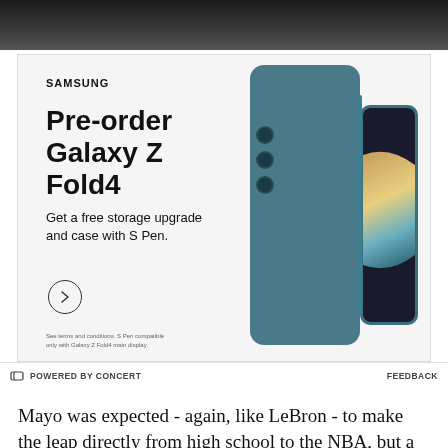[Figure (photo): Top portion of a person in dark clothing, partial torso/shoulder view, dark background]
[Figure (screenshot): Samsung advertisement for Galaxy Z Fold4 pre-order. Text reads: SAMSUNG, Pre-order Galaxy Z Fold4, Get a free storage upgrade and case with S Pen. Arrow circle button. Fine print: See terms and conditions. S Pen compatible only with Galaxy Z Fold4 main display. Image shows teal/blue Galaxy Z Fold4 phone with S Pen.]
POWERED BY CONCERT   FEEDBACK
Mayo was expected - again, like LeBron - to make the leap directly from high school to the NBA, but a change